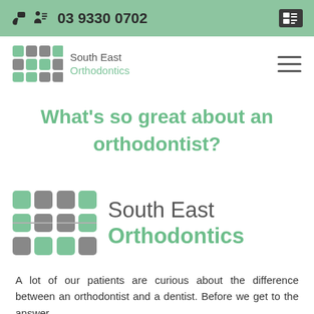03 9330 0702
[Figure (logo): South East Orthodontics logo with grid icon and text]
What’s so great about an orthodontist?
[Figure (logo): Large South East Orthodontics logo with grid icon and text]
A lot of our patients are curious about the difference between an orthodontist and a dentist. Before we get to the answer…